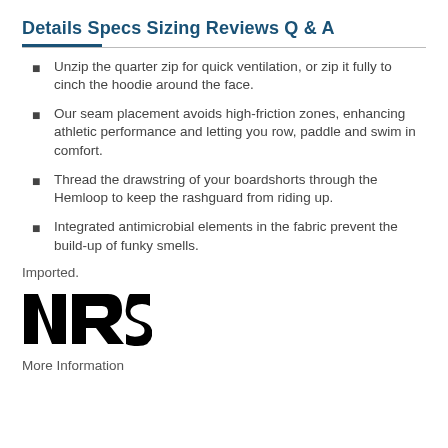Details Specs Sizing Reviews Q & A
Unzip the quarter zip for quick ventilation, or zip it fully to cinch the hoodie around the face.
Our seam placement avoids high-friction zones, enhancing athletic performance and letting you row, paddle and swim in comfort.
Thread the drawstring of your boardshorts through the Hemloop to keep the rashguard from riding up.
Integrated antimicrobial elements in the fabric prevent the build-up of funky smells.
Imported.
[Figure (logo): NRS logo in bold black text]
More Information